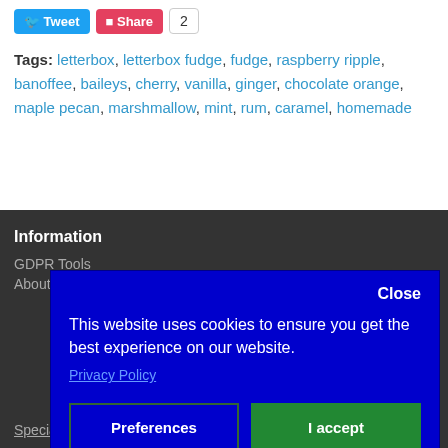[Figure (screenshot): Social sharing buttons: Tweet (blue) and Share (red) buttons with count badge showing 2]
Tags: letterbox, letterbox fudge, fudge, raspberry ripple, banoffee, baileys, cherry, vanilla, ginger, chocolate orange, maple pecan, marshmallow, mint, rum, caramel, homemade
Information
GDPR Tools
About Us
This website uses cookies to ensure you get the best experience on our website.
Privacy Policy
Specials